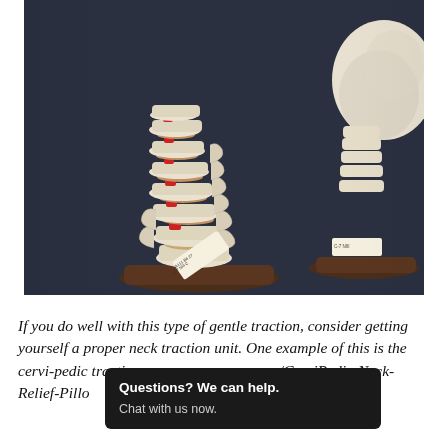[Figure (photo): Photograph of two anatomical spine/vertebrae models mounted on dark wooden bases, showing vertebrae with red intervertebral discs, with a small label tag visible near the base. Dark background.]
If you do well with this type of gentle traction, consider getting yourself a proper neck traction unit. One example of this is the cervi-pedic traction ...com/CerviPedic-Neck-Relief-Pillow...V/ (available on amazon).